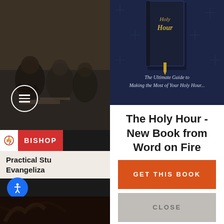[Figure (screenshot): Left panel showing dark background with people sitting in pews, a circular menu icon with horizontal bars, a Bishop bar with icon and red label, accessibility button, partial text for Practical Studies Evangelization, Bishop Robert name, and bottom dark photo]
[Figure (screenshot): Dark navy book cover section showing a dark hardcover book titled Holy Hour with gold text, star pattern background, subtitle reading The Ultimate Guide to Making the Most of Your Holy Hour...]
The Holy Hour - New Book from Word on Fire
GET THIS BOOK
CLOSE